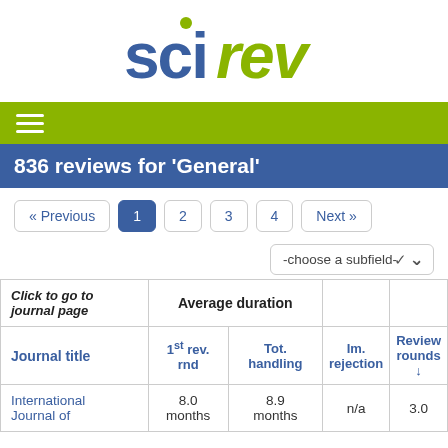[Figure (logo): SciRev logo with blue 'sci' and olive/green italic 'rev' text, small green dot above the 'i']
836 reviews for 'General'
« Previous  1  2  3  4  Next »
-choose a subfield-
| Click to go to journal page | Average duration |  | Review rounds ↓ |  |
| --- | --- | --- | --- | --- |
| Journal title | 1st rev. rnd | Tot. handling | Im. rejection | Review rounds ↓ |
| International Journal of | 8.0 months | 8.9 months | n/a | 3.0 |